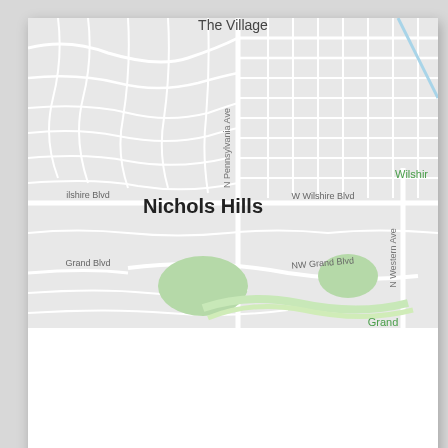[Figure (map): Street map showing Nichols Hills area in Oklahoma City. Visible street labels include: The Village (top center), N Pennsylvania Ave (vertical, center), Nichols Hills (large bold label, center), W Wilshire Blvd (center-right), Wilshire (top right, green label), ilshire Blvd (left), Grand Blvd (left), NW Grand Blvd (center), N Western Ave (right vertical), Grand (bottom right, green label). Green park/tree areas visible near bottom center and right. Light blue diagonal line in top right corner.]